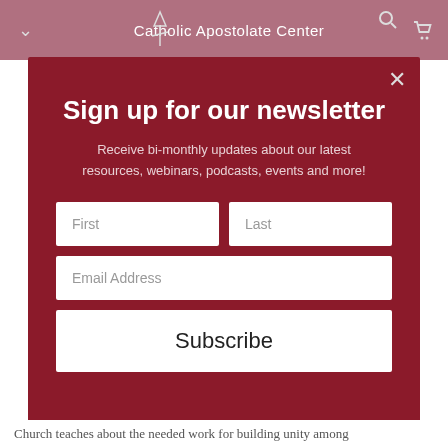Catholic Apostolate Center
[Figure (screenshot): Newsletter signup modal popup on the Catholic Apostolate Center website with dark red background, containing a title, subtitle, name fields, email field, and subscribe button]
Sign up for our newsletter
Receive bi-monthly updates about our latest resources, webinars, podcasts, events and more!
First
Last
Email Address
Subscribe
Church teaches about the needed work for building unity among